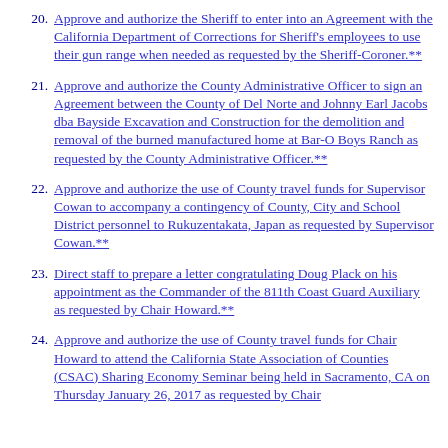20. Approve and authorize the Sheriff to enter into an Agreement with the California Department of Corrections for Sheriff's employees to use their gun range when needed as requested by the Sheriff-Coroner.**
21. Approve and authorize the County Administrative Officer to sign an Agreement between the County of Del Norte and Johnny Earl Jacobs dba Bayside Excavation and Construction for the demolition and removal of the burned manufactured home at Bar-O Boys Ranch as requested by the County Administrative Officer.**
22. Approve and authorize the use of County travel funds for Supervisor Cowan to accompany a contingency of County, City and School District personnel to Rukuzentakata, Japan as requested by Supervisor Cowan.**
23. Direct staff to prepare a letter congratulating Doug Plack on his appointment as the Commander of the 811th Coast Guard Auxiliary as requested by Chair Howard.**
24. Approve and authorize the use of County travel funds for Chair Howard to attend the California State Association of Counties (CSAC) Sharing Economy Seminar being held in Sacramento, CA on Thursday January 26, 2017 as requested by Chair